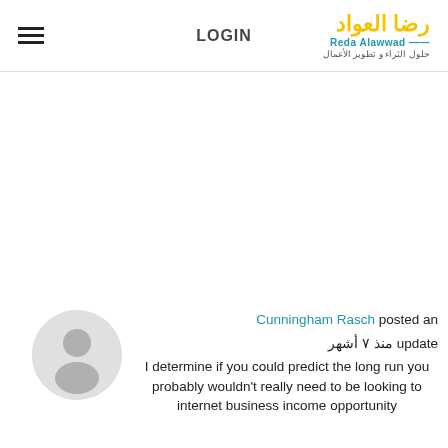LOGIN | Reda Alawwad - حلول الثراء و تطوير الأعمال
[Figure (illustration): User avatar placeholder circle with generic person silhouette in gray]
Cunningham Rasch posted an update منذ ٧ أشهر
I determine if you could predict the long run you probably wouldn't really need to be looking to internet business income opportunity